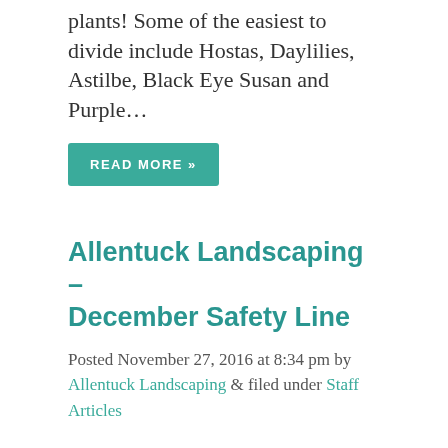plants! Some of the easiest to divide include Hostas, Daylilies, Astilbe, Black Eye Susan and Purple...
READ MORE »
Allentuck Landscaping – December Safety Line
Posted November 27, 2016 at 8:34 pm by Allentuck Landscaping & filed under Staff Articles
Working in Wet Weather Key Points Wet weather creates slippery surfaces and limits visibility, intensifying almost all hazards